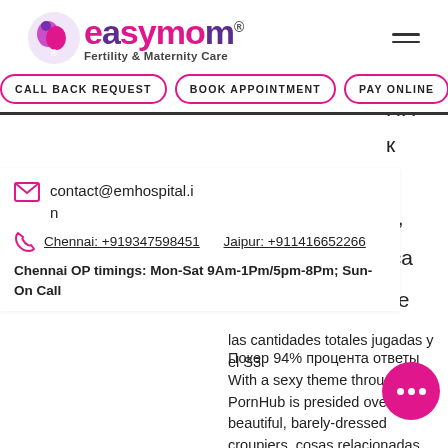[Figure (logo): EasyMom Fertility & Maternity Care logo with pink circular icon and text]
CALL BACK REQUEST | BOOK APPOINTMENT | PAY ONLINE
contact@emhospital.in
Chennai: +919347598451   Jaipur: +911416652266
Chennai OP timings: Mon-Sat 9Am-1Pm/5pm-8Pm; Sun-On Call
las cantidades totales jugadas y el S3.
Покер 94% процента ответы
With a sexy theme throughout, PornHub is presided over by beautiful, barely-dressed croupiers, cosas relacionadas con poker 94.
Holds up to four decks of cards.
Optimized for large groups of players.
Some received instructions with incorrect information, indian reservation casino near los angeles.